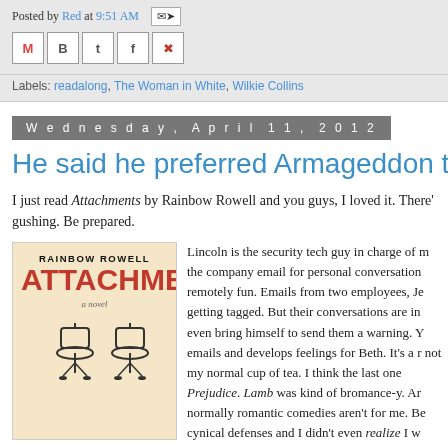Posted by Red at 9:51 AM
Labels: readalong, The Woman in White, Wilkie Collins
Wednesday, April 11, 2012
He said he preferred Armageddon to Sam's C
I just read Attachments by Rainbow Rowell and you guys, I loved it. There' gushing. Be prepared.
[Figure (illustration): Book cover of Attachments by Rainbow Rowell. Cream background with bold black text for author name, large orange-red stylized text for ATTACHMENTS, italic 'a novel' subtitle, and two office chairs silhouette at the bottom.]
Lincoln is the security tech guy in charge of m the company email for personal conversation remotely fun. Emails from two employees, Je getting tagged. But their conversations are in even bring himself to send them a warning. Y emails and develops feelings for Beth. It's a r not my normal cup of tea. I think the last one Prejudice. Lamb was kind of bromance-y. Ar normally romantic comedies aren't for me. Be cynical defenses and I didn't even realize I w comedy until I was already in love with all th